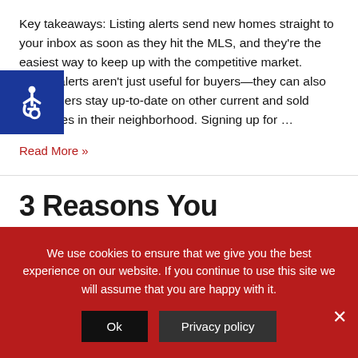Key takeaways: Listing alerts send new homes straight to your inbox as soon as they hit the MLS, and they're the easiest way to keep up with the competitive market. Listing alerts aren't just useful for buyers—they can also help sellers stay up-to-date on other current and sold properties in their neighborhood. Signing up for …
Read More »
3 Reasons You Shouldn't Use Zillow to Search for a Home
We use cookies to ensure that we give you the best experience on our website. If you continue to use this site we will assume that you are happy with it.
Ok
Privacy policy